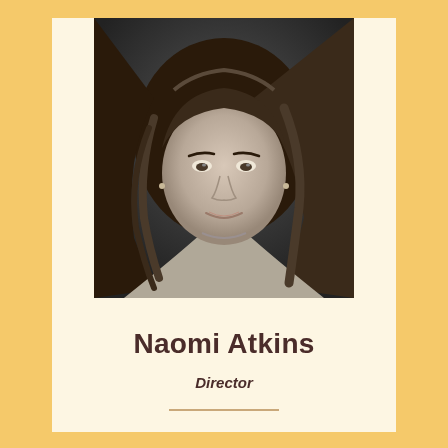[Figure (photo): Black and white professional headshot of a woman with long dark wavy hair, wearing a light-colored top, smiling slightly, against a dark background.]
Naomi Atkins
Director